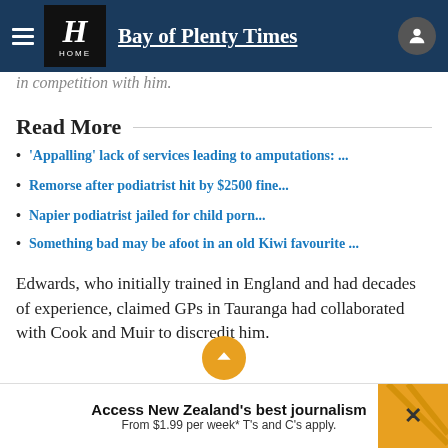Bay of Plenty Times
in competition with him.
Read More
'Appalling' lack of services leading to amputations: ...
Remorse after podiatrist hit by $2500 fine...
Napier podiatrist jailed for child porn...
Something bad may be afoot in an old Kiwi favourite ...
Edwards, who initially trained in England and had decades of experience, claimed GPs in Tauranga had collaborated with Cook and Muir to discredit him.
Access New Zealand's best journalism From $1.99 per week* T's and C's apply.